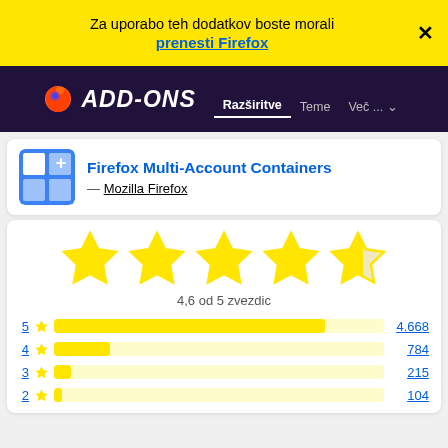Za uporabo teh dodatkov boste morali prenesti Firefox
[Figure (screenshot): Firefox Add-ons navigation bar with logo and menu links: Razširitve, Teme, Več...]
Firefox Multi-Account Containers — Mozilla Firefox
[Figure (other): 4.6 out of 5 stars rating displayed with large yellow stars]
4,6 od 5 zvezdic
| Stars | Count |
| --- | --- |
| 5 | 4.668 |
| 4 | 784 |
| 3 | 215 |
| 2 | 104 |